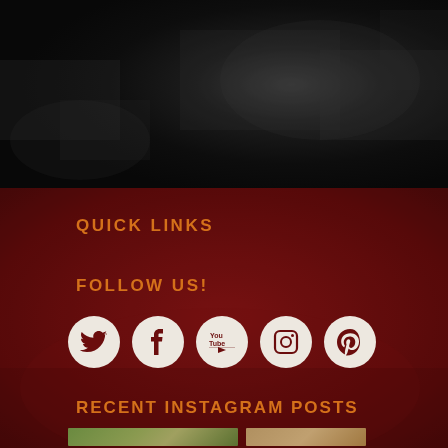[Figure (photo): Dark textured background, black/charcoal with subtle mottled texture resembling a chalkboard or dark wood]
QUICK LINKS
FOLLOW US!
[Figure (infographic): Five social media icons in white circles on dark red background: Twitter bird, Facebook f, YouTube play button with 'You Tube' text, Instagram camera, Pinterest P]
RECENT INSTAGRAM POSTS
[Figure (photo): Partial Instagram post thumbnails visible at bottom of page]